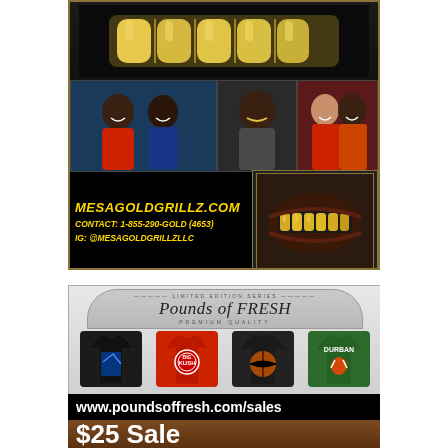[Figure (photo): Advertisement for MesaGoldGrillz.com showing gold dental grillz at top, three customer photos in middle, contact information on left bottom, and close-up photo of gold grillz in mouth on right bottom. Yellow bold text shows website, phone number and Instagram handle.]
[Figure (photo): Advertisement for Pounds of Fresh clothing brand showing a decorative arch header with 'Pounds of FRESH' in script and 'PREMIUM QUALITY' text, four graphic t-shirts displayed below (black, red, black, green), website URL www.poundsoffresh.com/sales in white text on black bar, and '$25 Sale' in large white text on wood-grain brown bar.]